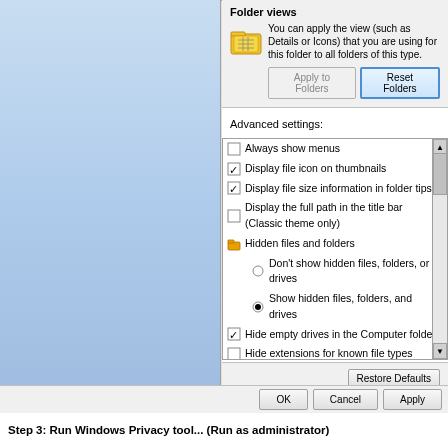[Figure (screenshot): Windows Folder Options dialog showing Folder Views section with Apply to Folders and Reset Folders buttons, Advanced settings list with checkboxes and radio buttons including options for showing hidden files and Hide protected operating system files (highlighted in blue), and Restore Defaults button at bottom. OK, Cancel, Apply buttons at very bottom.]
Folder views
You can apply the view (such as Details or Icons) that you are using for this folder to all folders of this type.
Advanced settings:
Always show menus
Display file icon on thumbnails
Display file size information in folder tips
Display the full path in the title bar (Classic theme only)
Hidden files and folders
Don't show hidden files, folders, or drives
Show hidden files, folders, and drives
Hide empty drives in the Computer folder
Hide extensions for known file types
Hide protected operating system files (Recommended)
Launch folder windows in a separate process
Restore previous folder windows at logon
Step 3: Run Windows Privacy tool... (Run as administrator)